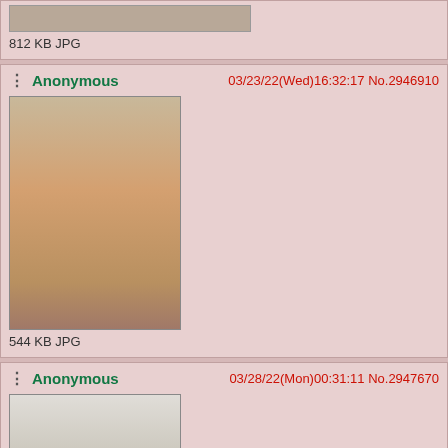812 KB JPG
Anonymous  03/23/22(Wed)16:32:17 No.2946910
[Figure (illustration): Anime/manga style illustration thumbnail]
544 KB JPG
Anonymous  03/28/22(Mon)00:31:11 No.2947670
[Figure (illustration): Manga panels thumbnail]
125 KB JPG
Anonymous  03/29/22(Tue)05:58:50 No.2948023
[Figure (illustration): Manga illustration thumbnail, partial]